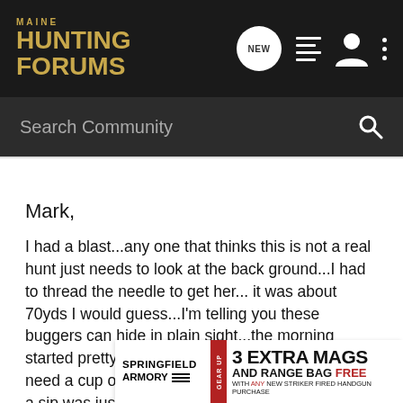MAINE HUNTING FORUMS — navigation bar with NEW, list, user, and menu icons
Search Community
Mark,
I had a blast...any one that thinks this is not a real hunt just needs to look at the back ground...I had to thread the needle to get her... it was about 70yds I would guess...I'm telling you these buggers can hide in plain sight...the morning started pretty uneventfull...at frist...I was thinking I need a cup of coffee so I poured one and had tken a sip was just about to set it down when I s[pilled] ...rly spilled n[early]...k at the
[Figure (other): Springfield Armory advertisement banner: 3 EXTRA MAGS AND RANGE BAG FREE WITH ANY NEW STRIKER FIRED HANDGUN PURCHASE — GEAR UP promotion]